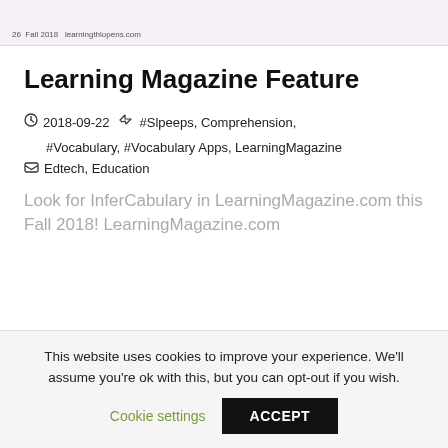[Figure (screenshot): Top strip showing partial magazine page footer with page number and website URL: '26 Fall 2018 learningthlopens.com']
Learning Magazine Feature
2018-09-22   #Slpeeps, Comprehension, #Vocabulary, #Vocabulary Apps, LearningMagazine
Edtech, Education
Look for InferCabulary in LearningMagazine.com this Fall 2018! LearningMagazine.com
This website uses cookies to improve your experience. We'll assume you're ok with this, but you can opt-out if you wish. Cookie settings ACCEPT